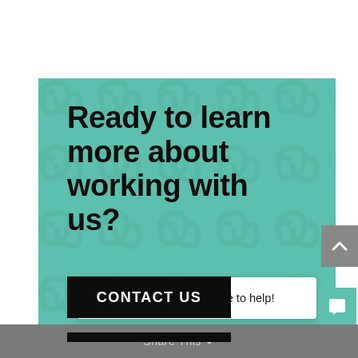[Figure (infographic): Teal/green call-to-action banner with decorative chain-link pattern. Contains a large bold heading 'Ready to learn more about working with us?' and a black 'CONTACT US' button, plus a partially visible second black bar below.]
Ready to learn more about working with us?
CONTACT US
Have a question? We'd love to help!
Share This